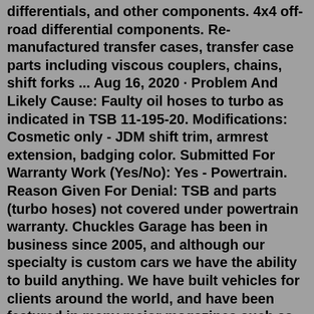differentials, and other components. 4x4 off-road differential components. Re-manufactured transfer cases, transfer case parts including viscous couplers, chains, shift forks ... Aug 16, 2020 · Problem And Likely Cause: Faulty oil hoses to turbo as indicated in TSB 11-195-20. Modifications: Cosmetic only - JDM shift trim, armrest extension, badging color. Submitted For Warranty Work (Yes/No): Yes - Powertrain. Reason Given For Denial: TSB and parts (turbo hoses) not covered under powertrain warranty. Chuckles Garage has been in business since 2005, and although our specialty is custom cars we have the ability to build anything. We have built vehicles for clients around the world, and have been featured in many major magazines such as Hotrod, Car Craft, TRC, Diesel World, Diesel Power, and television shows both domestic and internationally. Mar 28, 2012 · The future for data products. We introduced the Drivetrain Approach to provide a framework for designing the next generation of great data products and described how it relies at its heart on